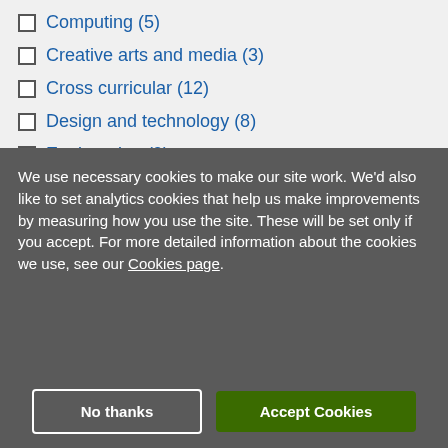Computing (5)
Creative arts and media (3)
Cross curricular (12)
Design and technology (8)
Engineering (9)
We use necessary cookies to make our site work. We'd also like to set analytics cookies that help us make improvements by measuring how you use the site. These will be set only if you accept. For more detailed information about the cookies we use, see our Cookies page.